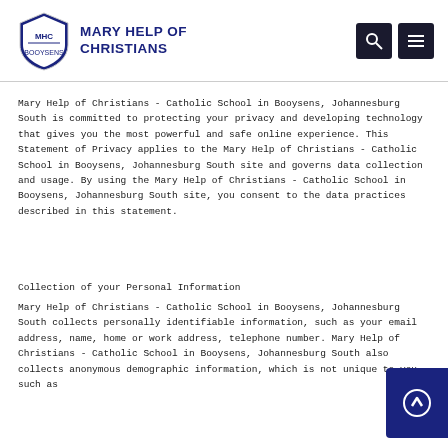MARY HELP OF CHRISTIANS
Mary Help of Christians - Catholic School in Booysens, Johannesburg South is committed to protecting your privacy and developing technology that gives you the most powerful and safe online experience. This Statement of Privacy applies to the Mary Help of Christians - Catholic School in Booysens, Johannesburg South site and governs data collection and usage. By using the Mary Help of Christians - Catholic School in Booysens, Johannesburg South site, you consent to the data practices described in this statement.
Collection of your Personal Information
Mary Help of Christians - Catholic School in Booysens, Johannesburg South collects personally identifiable information, such as your email address, name, home or work address, telephone number. Mary Help of Christians - Catholic School in Booysens, Johannesburg South also collects anonymous demographic information, which is not unique to you, such as